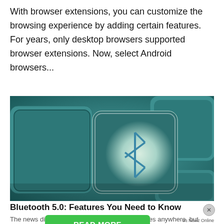With browser extensions, you can customize the browsing experience by adding certain features. For years, only desktop browsers supported browser extensions. Now, select Android browsers...
[Figure (photo): Close-up photo of keyboard keys with a teal/cyan color tone. The center key is illuminated and displays the Bluetooth symbol (the runic-style B/arrow icon) in blue.]
Bluetooth 5.0: Features You Need to Know
The news didn't exactly make front page headlines anywhere, but ... Special